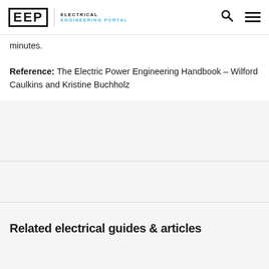EEP | ELECTRICAL ENGINEERING PORTAL
minutes.
Reference: The Electric Power Engineering Handbook – Wilford Caulkins and Kristine Buchholz
Related electrical guides & articles